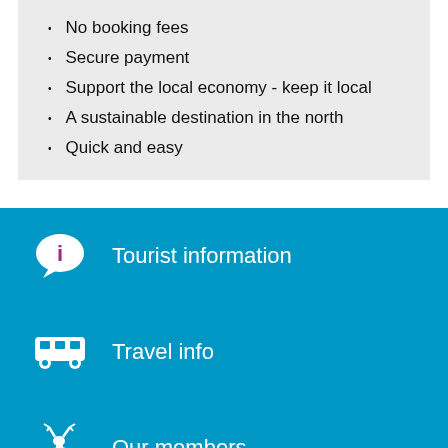No booking fees
Secure payment
Support the local economy - keep it local
A sustainable destination in the north
Quick and easy
Tourist information
Travel info
Our members
Green Travel